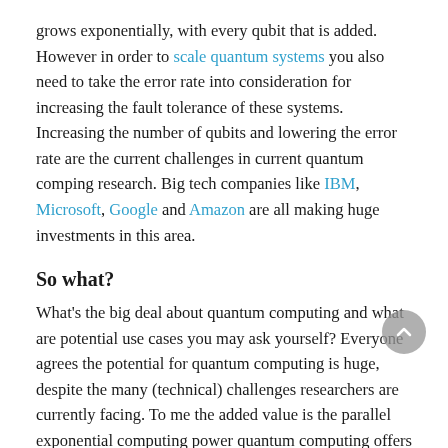grows exponentially, with every qubit that is added. However in order to scale quantum systems you also need to take the error rate into consideration for increasing the fault tolerance of these systems. Increasing the number of qubits and lowering the error rate are the current challenges in current quantum comping research. Big tech companies like IBM, Microsoft, Google and Amazon are all making huge investments in this area.
So what?
What's the big deal about quantum computing and what are potential use cases you may ask yourself? Everyone agrees the potential for quantum computing is huge, despite the many (technical) challenges researchers are currently facing. To me the added value is the parallel exponential computing power quantum computing offers especially in use cases that are very hard for classical